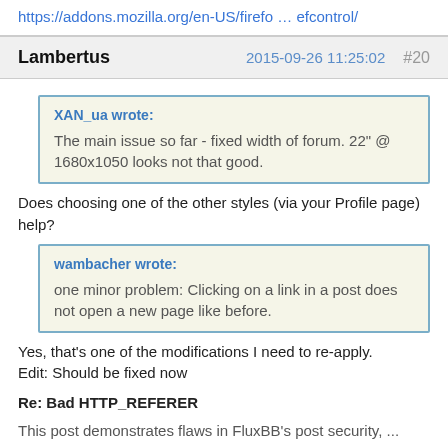https://addons.mozilla.org/en-US/firefo … efcontrol/
Lambertus
2015-09-26 11:25:02   #20
XAN_ua wrote:
The main issue so far - fixed width of forum. 22" @ 1680x1050 looks not that good.
Does choosing one of the other styles (via your Profile page) help?
wambacher wrote:
one minor problem: Clicking on a link in a post does not open a new page like before.
Yes, that's one of the modifications I need to re-apply.
Edit: Should be fixed now
Re: Bad HTTP_REFERER
This post demonstrates flaws in FluxBB's post security, ...